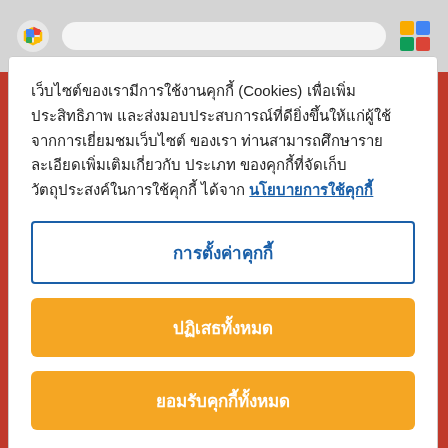[Figure (screenshot): Top browser bar with Google icon on left, address bar in center, and another Google icon on right, on a gray background]
เว็บไซต์ของเรามีการใช้งานคุกกี้ (Cookies) เพื่อเพิ่มประสิทธิภาพและส่งมอบประสบการณ์ที่ดียิ่งขึ้นให้แก่ผู้ใช้จากการเยี่ยมชมเว็บไซต์ของเรา ท่านสามารถศึกษารายละเอียดเพิ่มเติมเกี่ยวกับ ประเภทของคุกกี้ที่จัดเก็บ วัตถุประสงค์ในการใช้คุกกี้ ได้จาก นโยบายการใช้คุกกี้
การตั้งค่าคุกกี้
ปฏิเสธทั้งหมด
ยอมรับคุกกี้ทั้งหมด